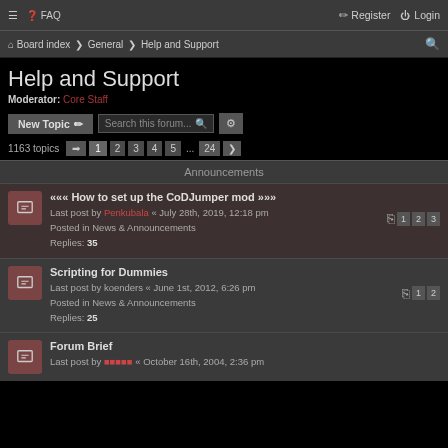≡  FAQ    Register  Login
Board index « General « Help and Support
Help and Support
Moderator: Core Staff
New Topic  Search this forum...
1163 topics  1 2 3 4 5 ... 24 >
Announcements
««« How to set up the CoDJumper mod »»»
Last post by Penkubala « July 28th, 2019, 12:18 pm
Posted in News & Announcements
Replies: 35
Scripting for Dummies
Last post by koenders « June 1st, 2012, 6:26 pm
Posted in News & Announcements
Replies: 25
Forum Brief
Last post by [author] « October 16th, 2004, 2:26 pm